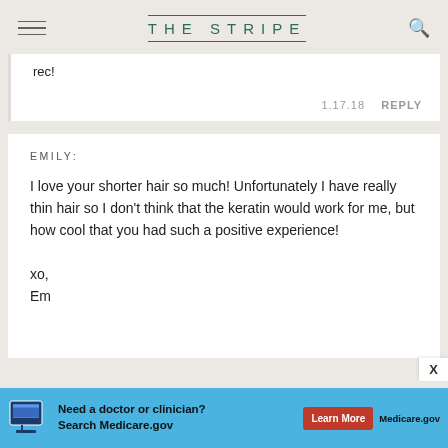THE STRIPE
rec!
1.17.18   REPLY
EMILY:
I love your shorter hair so much! Unfortunately I have really thin hair so I don't think that the keratin would work for me, but how cool that you had such a positive experience!
xo,
Em
[Figure (screenshot): Medicare.gov advertisement banner: 'Need a doctor or clinician? Search Medicare.gov' with Learn More button]